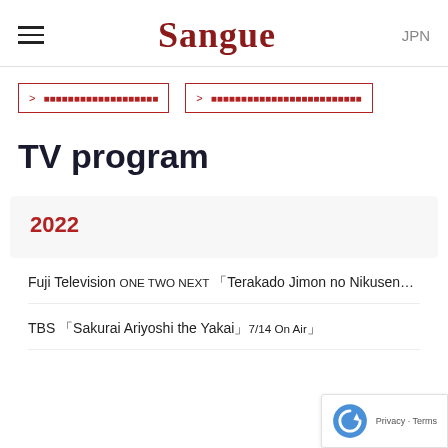Sangue | JPN
> ■■■■■■■■■■■■■■■■■■■
> ■■■■■■■■■■■■■■■■■■■■■■■■■
TV program
2022
Fuji Television ONE TWO NEXT 「Terakado Jimon no Nikusenmon C
TBS 「Sakurai Ariyoshi the Yakai」7/14 On Air」